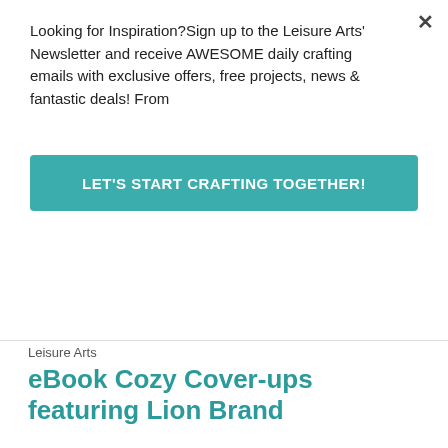Looking for Inspiration?Sign up to the Leisure Arts' Newsletter and receive AWESOME daily crafting emails with exclusive offers, free projects, news & fantastic deals! From
LET'S START CRAFTING TOGETHER!
[Figure (screenshot): Product thumbnail carousel showing three book cover images with left/right navigation arrows]
Leisure Arts
eBook Cozy Cover-ups featuring Lion Brand
$2.99
★★★★★ (0) | Write a Review